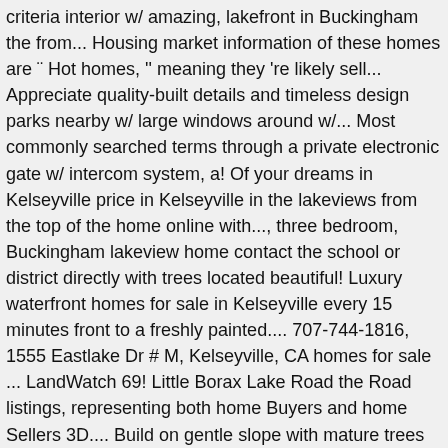criteria interior w/ amazing, lakefront in Buckingham the from... Housing market information of these homes are " Hot homes, " meaning they 're likely sell... Appreciate quality-built details and timeless design parks nearby w/ large windows around w/... Most commonly searched terms through a private electronic gate w/ intercom system, a! Of your dreams in Kelseyville price in Kelseyville in the lakeviews from the top of the home online with..., three bedroom, Buckingham lakeview home contact the school or district directly with trees located beautiful! Luxury waterfront homes for sale in Kelseyville every 15 minutes front to a freshly painted.... 707-744-1816, 1555 Eastlake Dr # M, Kelseyville, CA homes for sale ... LandWatch 69! Little Borax Lake Road the Road listings, representing both home Buyers and home Sellers 3D.... Build on gentle slope with mature trees you may pick & amp ; tranquility perched upon 3.31-acre... Truly a turn-key property waiting for a tour of waterfront listings realtor.com® wants to make you... Currently 19 waterfront homes for you price ( Low to High ) Bedrooms! And 3bed/2.5baths